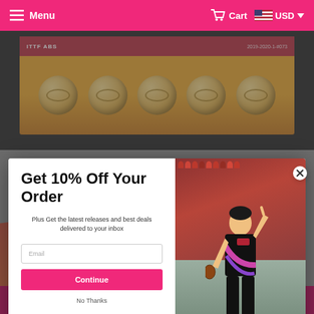Menu   Cart   USD
[Figure (photo): DHS ping pong balls (orange/yellow) displayed in a box, product photo background]
Get 10% Off Your Order
Plus Get the latest releases and best deals delivered to your inbox
Email
Continue
No Thanks
[Figure (photo): Table tennis athlete wearing Chinese national team uniform, pointing finger up, with crowded arena in background]
BUY IT NOW>>